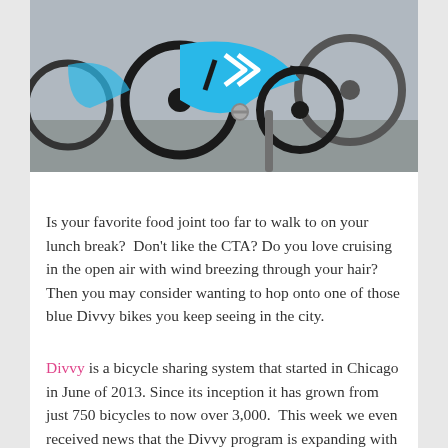[Figure (photo): Close-up photo of blue Divvy bicycles at a docking station, showing the distinctive sky-blue frame with chevron design]
Is your favorite food joint too far to walk to on your lunch break?  Don't like the CTA? Do you love cruising in the open air with wind breezing through your hair? Then you may consider wanting to hop onto one of those blue Divvy bikes you keep seeing in the city.
Divvy is a bicycle sharing system that started in Chicago in June of 2013. Since its inception it has grown from just 750 bicycles to now over 3,000. This week we even received news that the Divvy program is expanding with 175 new stations and 1750 new bikes opening soon (now delayed until the spring, according to Chicago